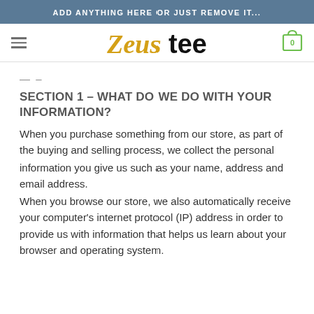ADD ANYTHING HERE OR JUST REMOVE IT...
[Figure (logo): Zeus tee logo with hamburger menu icon on left and shopping cart icon (showing 0) on right]
— –
SECTION 1 – WHAT DO WE DO WITH YOUR INFORMATION?
When you purchase something from our store, as part of the buying and selling process, we collect the personal information you give us such as your name, address and email address.
When you browse our store, we also automatically receive your computer's internet protocol (IP) address in order to provide us with information that helps us learn about your browser and operating system.